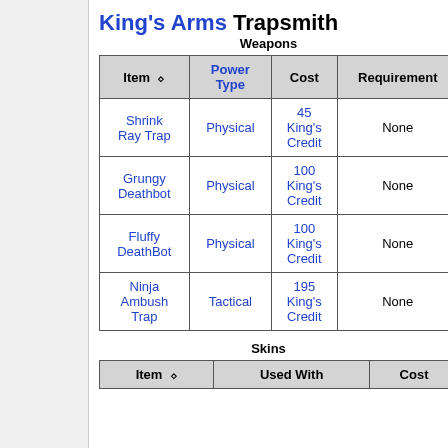King's Arms Trapsmith
Weapons
| Item | Power Type | Cost | Requirement |
| --- | --- | --- | --- |
| Shrink Ray Trap | Physical | 45 King's Credit | None |
| Grungy Deathbot | Physical | 100 King's Credit | None |
| Fluffy DeathBot | Physical | 100 King's Credit | None |
| Ninja Ambush Trap | Tactical | 195 King's Credit | None |
Skins
| Item | Used With | Cost |
| --- | --- | --- |